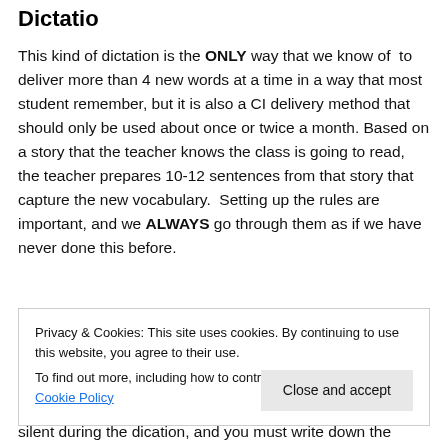Dictatio
This kind of dictation is the ONLY way that we know of to deliver more than 4 new words at a time in a way that most student remember, but it is also a CI delivery method that should only be used about once or twice a month. Based on a story that the teacher knows the class is going to read, the teacher prepares 10-12 sentences from that story that capture the new vocabulary.  Setting up the rules are important, and we ALWAYS go through them as if we have never done this before.
Privacy & Cookies: This site uses cookies. By continuing to use this website, you agree to their use.
To find out more, including how to control cookies, see here: Cookie Policy
Close and accept
silent during the dication, and you must write down the